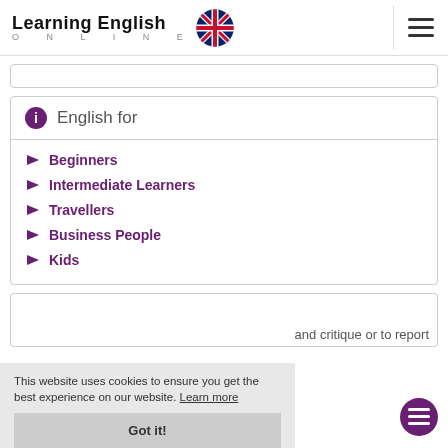Learning English ONLINE
English for
Beginners
Intermediate Learners
Travellers
Business People
Kids
and critique or to report
This website uses cookies to ensure you get the best experience on our website. Learn more